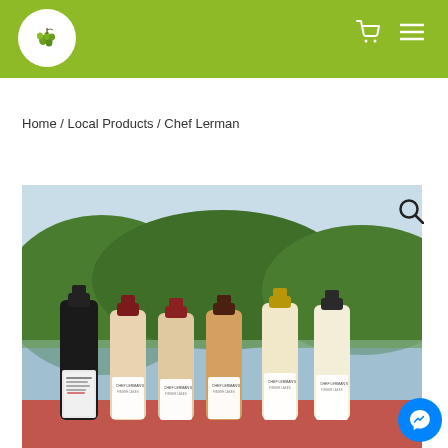[Figure (logo): Round white logo with green plant/tree illustration on lime green header background]
[Figure (illustration): Cart icon and hamburger menu icon in white on lime green header bar]
Home / Local Products / Chef Lerman
[Figure (photo): Six Chef Lerman sauce/dressing bottles arranged on a table with lake and green hills in the background. Bottles have various colored caps and labels reading Chef Lerman's Finger Lakes varieties.]